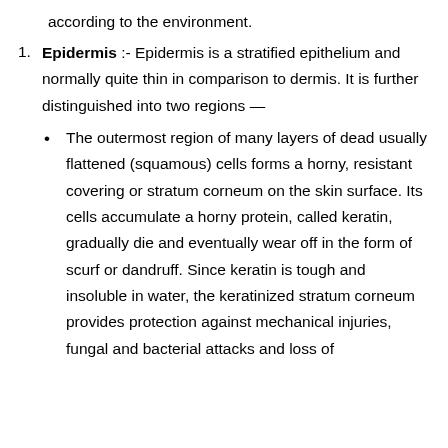according to the environment.
Epidermis :- Epidermis is a stratified epithelium and normally quite thin in comparison to dermis. It is further distinguished into two regions —
The outermost region of many layers of dead usually flattened (squamous) cells forms a horny, resistant covering or stratum corneum on the skin surface. Its cells accumulate a horny protein, called keratin, gradually die and eventually wear off in the form of scurf or dandruff. Since keratin is tough and insoluble in water, the keratinized stratum corneum provides protection against mechanical injuries, fungal and bacterial attacks and loss of